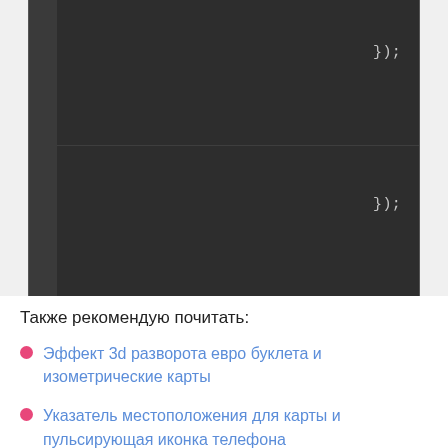[Figure (screenshot): Dark-themed code editor screenshot showing closing braces with '});' visible twice on the right side, with a line gutter on the left.]
Также рекомендую почитать:
Эффект 3d разворота евро буклета и изометрические карты
Указатель местоположения для карты и пульсирующая иконка телефона